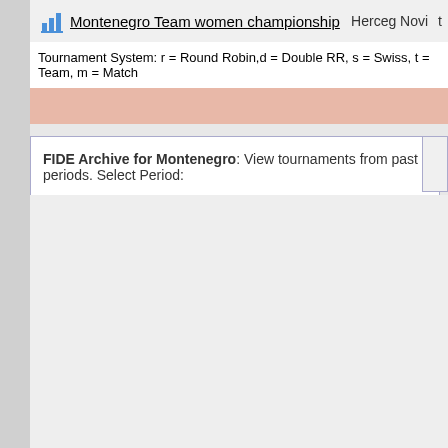Montenegro Team women championship   Herceg Novi   t
Tournament System: r = Round Robin,d = Double RR, s = Swiss, t = Team, m = Match
FIDE Archive for Montenegro: View tournaments from past periods. Select Period: